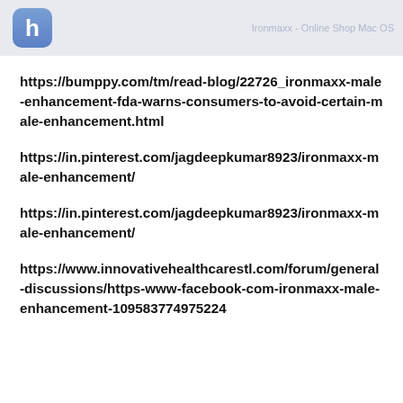h  [header text faded]
https://bumppy.com/tm/read-blog/22726_ironmaxx-male-enhancement-fda-warns-consumers-to-avoid-certain-male-enhancement.html
https://in.pinterest.com/jagdeepkumar8923/ironmaxx-male-enhancement/
https://in.pinterest.com/jagdeepkumar8923/ironmaxx-male-enhancement/
https://www.innovativehealthcarestl.com/forum/general-discussions/https-www-facebook-com-ironmaxx-male-enhancement-109583774975224